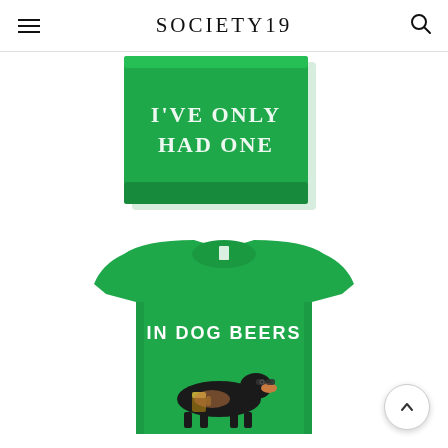SOCIETY19
[Figure (photo): Green folded t-shirt/cloth with white text reading 'I'VE ONLY HAD ONE' in decorative font, centered on white background]
[Figure (photo): Green women's t-shirt with text 'IN DOG BEERS' and a dachshund dog wearing sunglasses holding a beer, on white background]